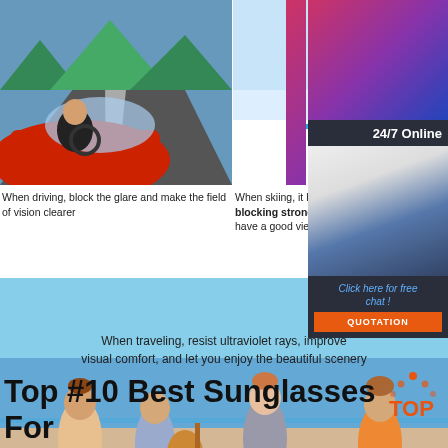[Figure (photo): Red convertible car being driven on a curvy road with sunlight]
[Figure (photo): Skier in blue jacket performing a trick in mid-air against white/blue sky]
[Figure (photo): Group of young women smiling at a party with purple/pink lighting - partially visible]
[Figure (photo): 24/7 online customer service agent - woman with headset smiling]
When driving, block the glare and make the field of vision clearer
When skiing, it has the function of blocking strong light, so thatyou can have a good view ofoutdoor sports
At the p become audience
[Figure (photo): Group of young friends sitting on a beach playing guitar and relaxing]
When traveling, resist ultraviolet rays, improve visual comfort, and let you enjoy the beautiful scenery
Top #10 Best Sunglasses For Driving Day And Night in ...